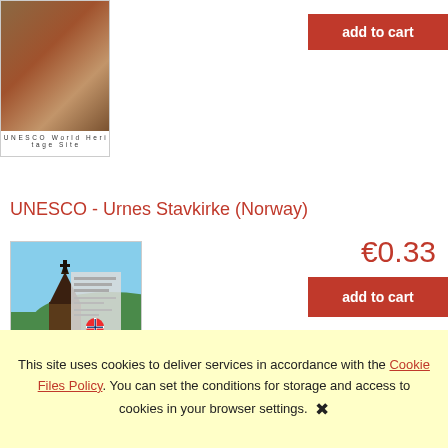[Figure (photo): Petra/Jordan UNESCO World Heritage Site stamp product image with flag]
add to cart
UNESCO - Urnes Stavkirke (Norway)
€0.33
[Figure (photo): Urnes Stave Church Norway UNESCO World Heritage Site stamp with Norwegian flag]
add to cart
This site uses cookies to deliver services in accordance with the Cookie Files Policy. You can set the conditions for storage and access to cookies in your browser settings.